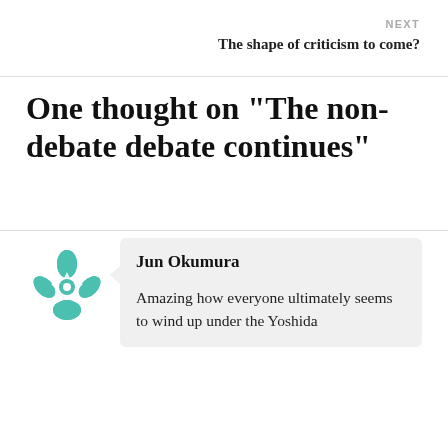NEXT
The shape of criticism to come?
One thought on “The non-debate debate continues”
Jun Okumura
Amazing how everyone ultimately seems to wind up under the Yoshida